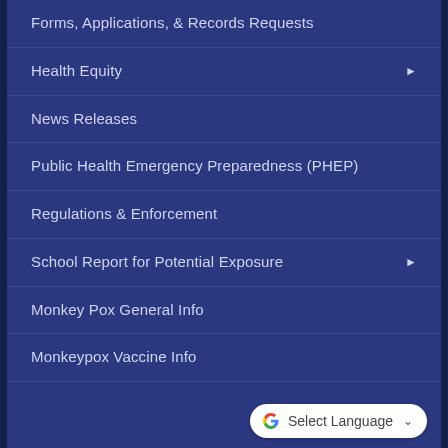Forms, Applications, & Records Requests
Health Equity ▶
News Releases
Public Health Emergency Preparedness (PHEP)
Regulations & Enforcement
School Report for Potential Exposure ▶
Monkey Pox General Info
Monkeypox Vaccine Info
[Figure (logo): Google Translate button with G logo and 'Select Language' text and dropdown chevron]